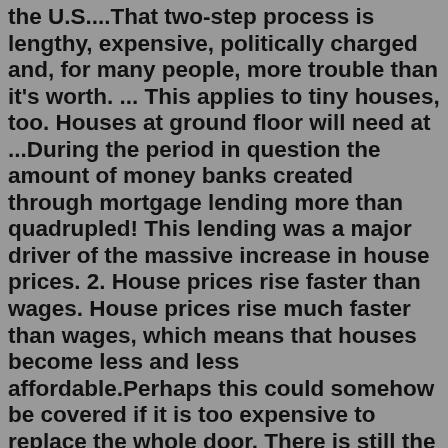the U.S....That two-step process is lengthy, expensive, politically charged and, for many people, more trouble than it's worth. ... This applies to tiny houses, too. Houses at ground floor will need at ...During the period in question the amount of money banks created through mortgage lending more than quadrupled! This lending was a major driver of the massive increase in house prices. 2. House prices rise faster than wages. House prices rise much faster than wages, which means that houses become less and less affordable.Perhaps this could somehow be covered if it is too expensive to replace the whole door. There is still the side garage window (diamonds to be removed) to let in light. This house is a good example of an attractive plan, with the garage and main wings forming a welcoming courtyard-like entrance, that has gone berserk with unattractive and ...It's precisely because of this point that houses are so expensive. We need them, so we are prepared to spend our whole lives paying for them. If we didn't need them, we wouldn't be prepared to spend that much money on